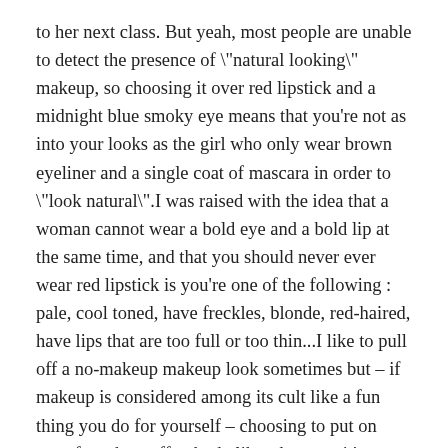to her next class. But yeah, most people are unable to detect the presence of \"natural looking\" makeup, so choosing it over red lipstick and a midnight blue smoky eye means that you're not as into your looks as the girl who only wear brown eyeliner and a single coat of mascara in order to \"look natural\".I was raised with the idea that a woman cannot wear a bold eye and a bold lip at the same time, and that you should never ever wear red lipstick is you're one of the following : pale, cool toned, have freckles, blonde, red-haired, have lips that are too full or too thin...I like to pull off a no-makeup makeup look sometimes but – if makeup is considered among its cult like a fun thing you do for yourself – choosing to put on your face the stuff nobody likes, because it's too striking or unnatural, is an affirmation or self, in my opinion. Wearing super dark lipstick with purple eyeliner on a summer day to go grocery shopping almost becomes rebellious, because it's never what you're expected to do. And It feels fantastic.PS : sorry for the